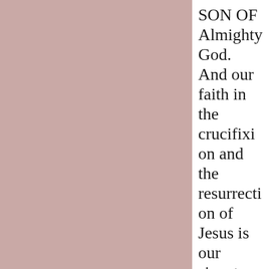SON OF Almighty God. And our faith in the crucifixion and the resurrection of Jesus is our signature that we serve the one true and only Almighty